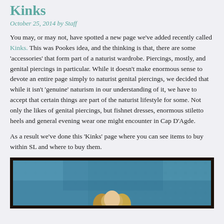Kinks
October 25, 2014 by Staff
You may, or may not, have spotted a new page we've added recently called Kinks. This was Pookes idea, and the thinking is that, there are some 'accessories' that form part of a naturist wardrobe. Piercings, mostly, and genital piercings in particular. While it doesn't make enormous sense to devote an entire page simply to naturist genital piercings, we decided that while it isn't 'genuine' naturism in our understanding of it, we have to accept that certain things are part of the naturist lifestyle for some. Not only the likes of genital piercings, but fishnet dresses, enormous stiletto heels and general evening wear one might encounter in Cap D'Agde.
As a result we've done this 'Kinks' page where you can see items to buy within SL and where to buy them.
[Figure (photo): A framed image with a dark border showing a blonde-haired figure against a blue background, partially visible at bottom of page.]